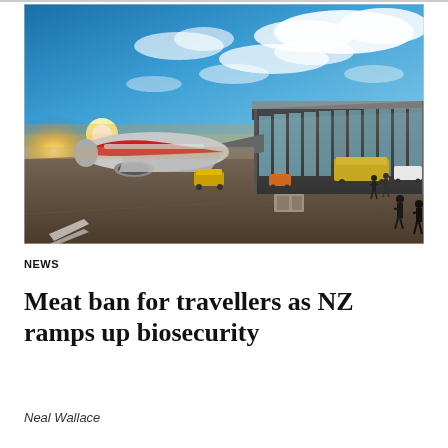[Figure (photo): Airport tarmac scene at sunset/dusk showing a red aircraft connected to a jet bridge, with a modern glass terminal building on the right, ground vehicles scattered around, and a dramatic blue sky with clouds and a glowing sun on the horizon.]
NEWS
Meat ban for travellers as NZ ramps up biosecurity
Neal Wallace